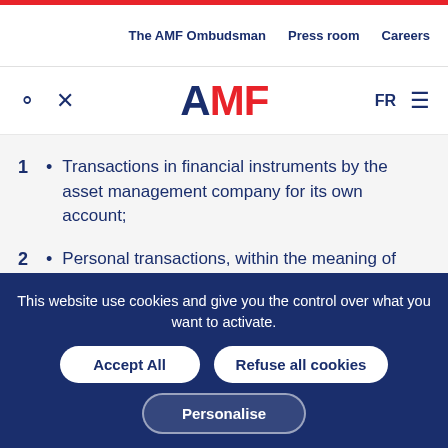The AMF Ombudsman   Press room   Careers
[Figure (logo): AMF logo with search and tool icons, FR language selector, and hamburger menu]
1 • Transactions in financial instruments by the asset management company for its own account;
2 • Personal transactions, within the meaning of Article 63 of Delegated Regulation (EU) n° 231/2013 of the Commission of 19 December 2012, made by or on behalf of the relevant persons referred to in...
This website use cookies and give you the control over what you want to activate.